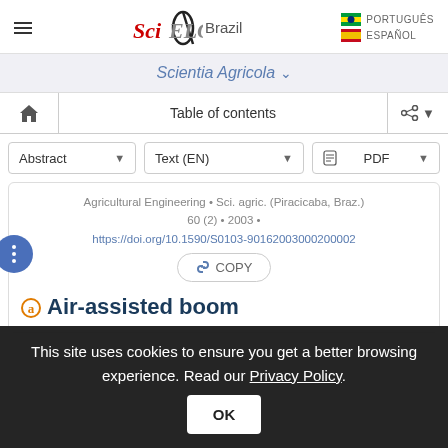SciELO Brazil — PORTUGUÊS | ESPAÑOL
Scientia Agricola
Table of contents
Abstract ▾   Text (EN) ▾   PDF ▾
Agricultural Engineering • Sci. agric. (Piracicaba, Braz.) 60 (2) • 2003 •
https://doi.org/10.1590/S0103-90162003000200002
COPY
Air-assisted boom
This site uses cookies to ensure you get a better browsing experience. Read our Privacy Policy.
OK